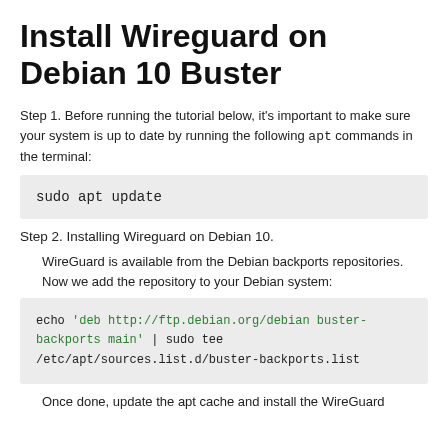Install Wireguard on Debian 10 Buster
Step 1. Before running the tutorial below, it's important to make sure your system is up to date by running the following apt commands in the terminal:
sudo apt update
Step 2. Installing Wireguard on Debian 10.
WireGuard is available from the Debian backports repositories. Now we add the repository to your Debian system:
echo 'deb http://ftp.debian.org/debian buster-backports main' | sudo tee /etc/apt/sources.list.d/buster-backports.list
Once done, update the apt cache and install the WireGuard